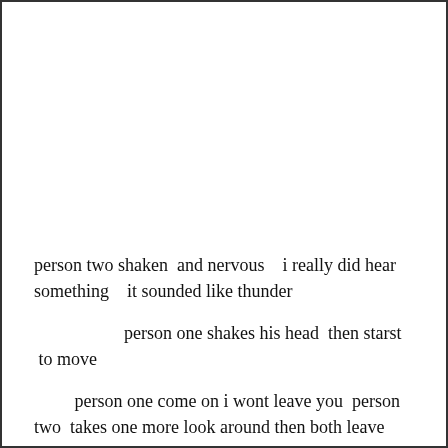person two shaken  and nervous   i really did hear something   it sounded like thunder
person one shakes his head  then starst  to move
person one come on i wont leave you  person two  takes one more look around then both leave
they turn round to be faced  with a  shadow like figure   we cant make out it featurs yet   person one